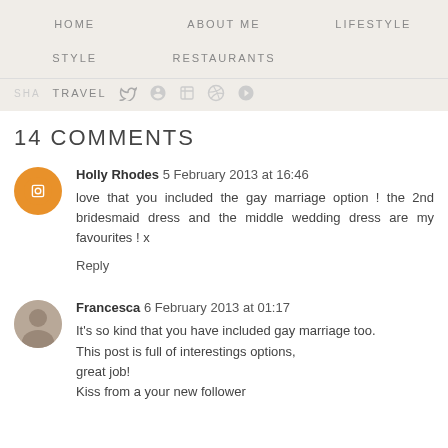HOME   ABOUT ME   LIFESTYLE
STYLE   RESTAURANTS
SHARE   TRAVEL
14 COMMENTS
Holly Rhodes  5 February 2013 at 16:46
love that you included the gay marriage option ! the 2nd bridesmaid dress and the middle wedding dress are my favourites ! x
Reply
Francesca  6 February 2013 at 01:17
It's so kind that you have included gay marriage too. This post is full of interestings options, great job! Kiss from a your new follower